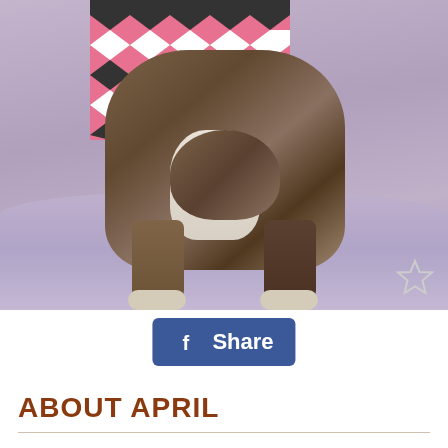[Figure (photo): A brindle dog wearing a pink and black chevron-patterned shirt, sitting on a lavender/grey blanket, head bowed down, with white paws visible. A star/favorite icon appears in the bottom right corner of the photo.]
[Figure (screenshot): Facebook Share button - blue rounded rectangle button with the Facebook 'f' logo and the word 'Share' in white text.]
ABOUT APRIL